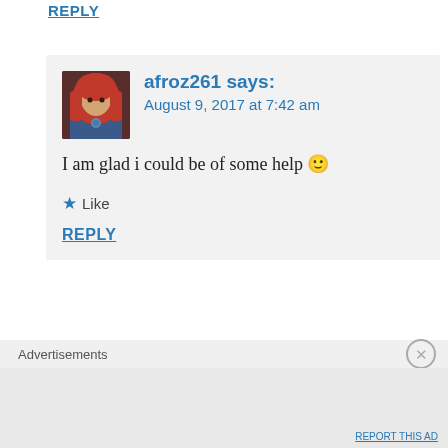REPLY
[Figure (photo): Avatar photo of afroz261 — woman wearing red hijab]
afroz261 says:
August 9, 2017 at 7:42 am
I am glad i could be of some help 🙂
★ Like
REPLY
[Figure (logo): Red pixelated/castle avatar icon for Yeu Doi]
Yeu Doi says:
Advertisements